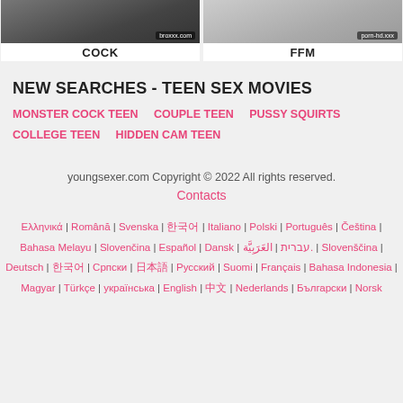[Figure (photo): Two thumbnail images side by side: left labeled COCK with watermark broxxx.com, right labeled FFM with watermark porn-hd.xxx]
NEW SEARCHES - TEEN SEX MOVIES
MONSTER COCK TEEN   COUPLE TEEN   PUSSY SQUIRTS COLLEGE TEEN   HIDDEN CAM TEEN
youngsexer.com Copyright © 2022 All rights reserved.
Contacts
Ελληνικά | Română | Svenska | 한국어 | Italiano | Polski | Português | Čeština | Bahasa Melayu | Slovenčina | Español | Dansk | עברית | العَرَبِيَّة. | Slovenščina | Deutsch | 한국어 | Српски | 日本語 | Русский | Suomi | Français | Bahasa Indonesia | Magyar | Türkçe | українська | English | 中文 | Nederlands | Български | Norsk